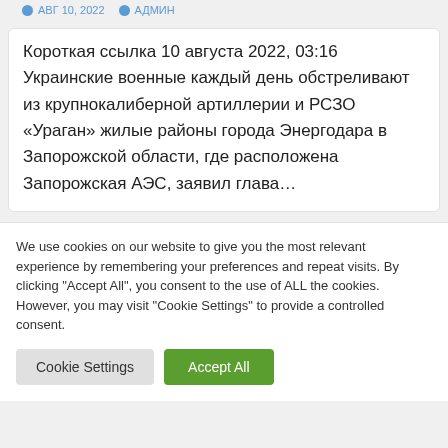АВГ 10, 2022  АДМИН
Короткая ссылка 10 августа 2022, 03:16 Украинские военные каждый день обстреливают из крупнокалиберной артиллерии и РСЗО «Ураган» жилые районы города Энергодара в Запорожской области, где расположена Запорожская АЭС, заявил глава…
We use cookies on our website to give you the most relevant experience by remembering your preferences and repeat visits. By clicking "Accept All", you consent to the use of ALL the cookies. However, you may visit "Cookie Settings" to provide a controlled consent.
Cookie Settings
Accept All